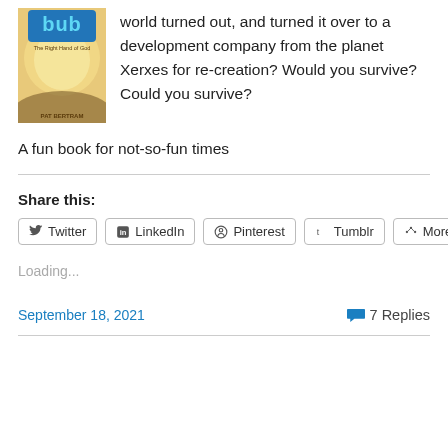world turned out, and turned it over to a development company from the planet Xerxes for re-creation? Would you survive? Could you survive?
A fun book for not-so-fun times
Share this:
Twitter  LinkedIn  Pinterest  Tumblr  More
Loading...
September 18, 2021
7 Replies